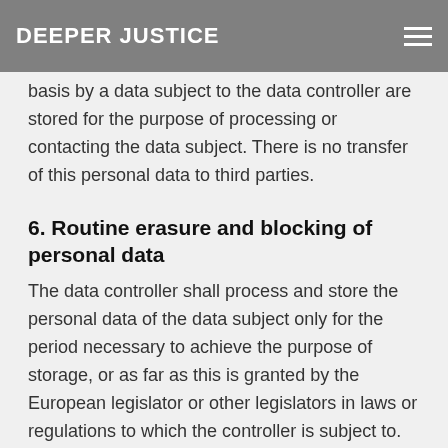DEEPER JUSTICE
...or such personal data transmitted on a voluntary basis by a data subject to the data controller are stored for the purpose of processing or contacting the data subject. There is no transfer of this personal data to third parties.
6. Routine erasure and blocking of personal data
The data controller shall process and store the personal data of the data subject only for the period necessary to achieve the purpose of storage, or as far as this is granted by the European legislator or other legislators in laws or regulations to which the controller is subject to.
If the storage purpose is not applicable, or if a storage period prescribed by the European legislator or another competent legislator expires, the personal data are